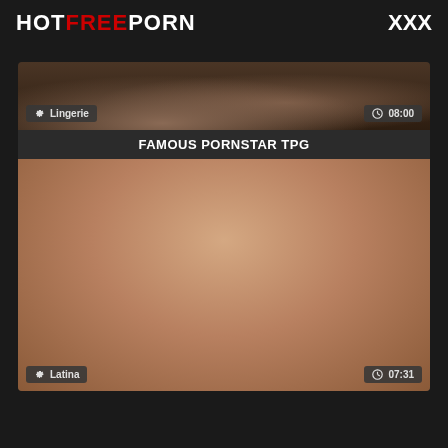HOTFREEPORN XXX
[Figure (screenshot): Video thumbnail showing lingerie category tag and 08:00 duration badge]
FAMOUS PORNSTAR TPG
[Figure (screenshot): Video thumbnail showing Latina category tag and 07:31 duration badge]